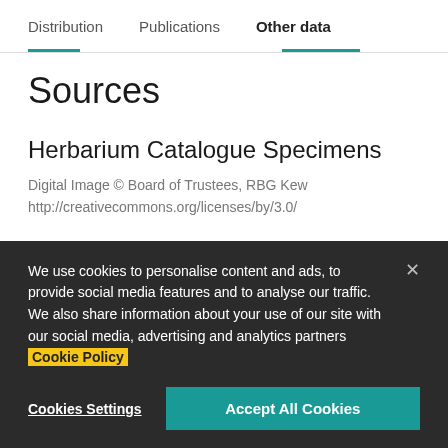Distribution | Publications | Other data
Sources
Herbarium Catalogue Specimens
Digital Image © Board of Trustees, RBG Kew
http://creativecommons.org/licenses/by/3.0/
International Legume Database and
We use cookies to personalise content and ads, to provide social media features and to analyse our traffic. We also share information about your use of our site with our social media, advertising and analytics partners Cookie Policy
Cookies Settings | Accept All Cookies